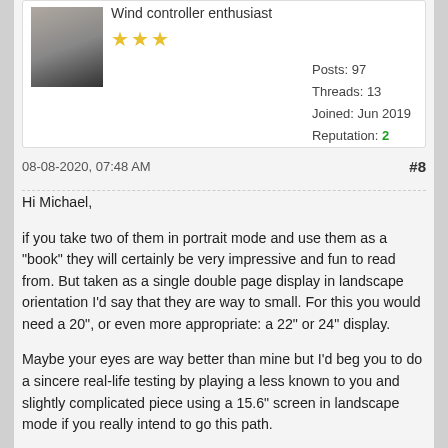Wind controller enthusiast
Posts: 97  Threads: 13  Joined: Jun 2019  Reputation: 2
08-08-2020, 07:48 AM
#8
Hi Michael,
if you take two of them in portrait mode and use them as a "book" they will certainly be very impressive and fun to read from. But taken as a single double page display in landscape orientation I'd say that they are way to small. For this you would need a 20", or even more appropriate: a 22" or 24" display.
Maybe your eyes are way better than mine but I'd beg you to do a sincere real-life testing by playing a less known to you and slightly complicated piece using a 15.6" screen in landscape mode if you really intend to go this path.